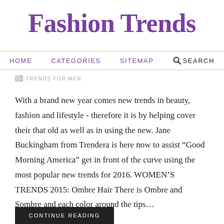Fashion Trends
HOME   CATEGORIES   SITEMAP   SEARCH
TRENDS FOR MEN
With a brand new year comes new trends in beauty, fashion and lifestyle - therefore it is by helping cover their that old as well as in using the new. Jane Buckingham from Trendera is here now to assist “Good Morning America” get in front of the curve using the most popular new trends for 2016. WOMEN’S TRENDS 2015: Ombre Hair There is Ombre and Sombre and each color around the tips…
CONTINUE READING